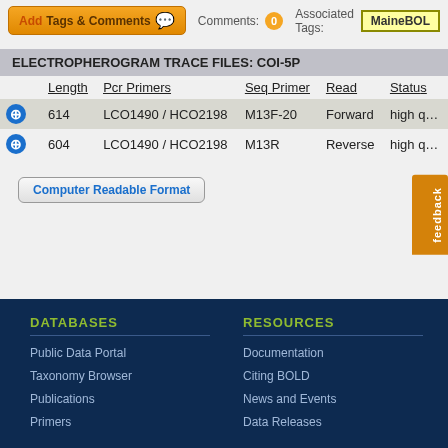Add Tags & Comments   Comments: 0   Associated Tags: MaineBOL
ELECTROPHEROGRAM TRACE FILES: COI-5P
|  | Length | Pcr Primers | Seq Primer | Read | Status |
| --- | --- | --- | --- | --- | --- |
| ↓ | 614 | LCO1490 / HCO2198 | M13F-20 | Forward | high q |
| ↓ | 604 | LCO1490 / HCO2198 | M13R | Reverse | high q |
Computer Readable Format
DATABASES
Public Data Portal
Taxonomy Browser
Publications
Primers
RESOURCES
Documentation
Citing BOLD
News and Events
Data Releases